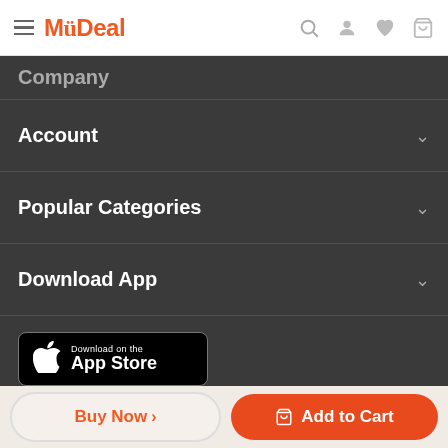MyDeal navigation bar with logo, search, user, wishlist, cart icons
Company
Account
Popular Categories
Download App
[Figure (screenshot): App Store download button for iOS]
[Figure (screenshot): Google Play download button for Android]
Buy Now >
Add to Cart